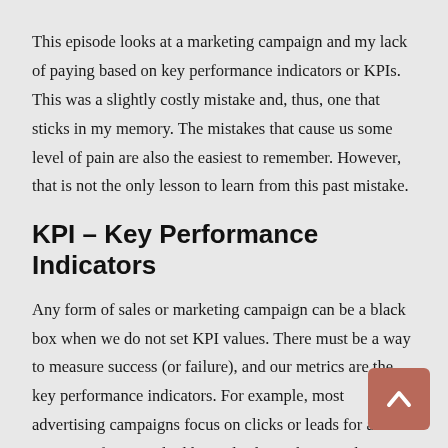This episode looks at a marketing campaign and my lack of paying based on key performance indicators or KPIs.  This was a slightly costly mistake and, thus, one that sticks in my memory.  The mistakes that cause us some level of pain are also the easiest to remember. However, that is not the only lesson to learn from this past mistake.
KPI – Key Performance Indicators
Any form of sales or marketing campaign can be a black box when we do not set KPI values.  There must be a way to measure success (or failure), and our metrics are the key performance indicators.  For example, most advertising campaigns focus on clicks or leads for a measure of potential additional sales.  Likewise, there is a KPI referred to as impressions that is to measure how many people see the ad.